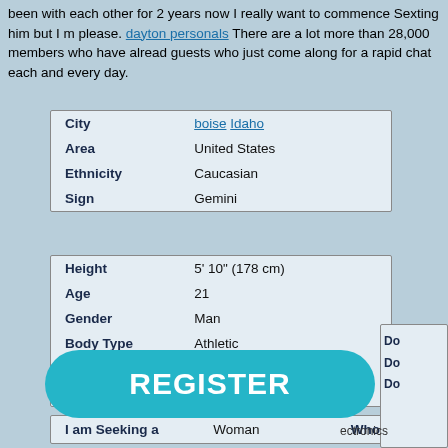been with each other for 2 years now I really want to commence Sexting him but I m please. dayton personals There are a lot more than 28,000 members who have already guests who just come along for a rapid chat each and every day.
| City | boise Idaho |
| Area | United States |
| Ethnicity | Caucasian |
| Sign | Gemini |
| Height | 5' 10" (178 cm) |
| Age | 21 |
| Gender | Man |
| Body Type | Athletic |
| Hair Color | Blond |
| Rate My Picture | No |
| I am Seeking a | Woman | Who |
[Figure (other): REGISTER button overlay in teal/cyan color]
electronics
Do Do Do